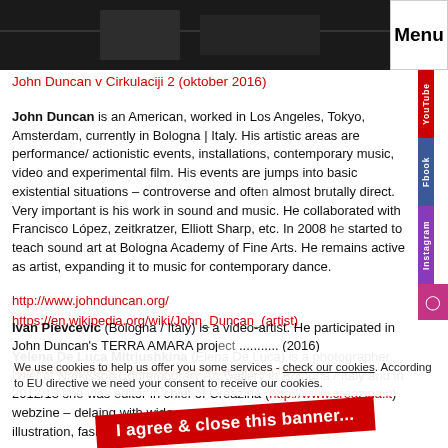[Figure (photo): Dark/night photo, top banner of a webpage]
Menu
John Duncan v Cirkulaciji 2 (oktober 2016)
John Duncan is an American, worked in Los Angeles, Tokyo, Amsterdam, currently in Bologna | Italy. His artistic areas are performance/ actionistic events, installations, contemporary music, video and experimental film. His events are jumps into basic existential situations – controverse and often almost brutally direct. Very important is his work in sound and music. He collaborated with Francisco López, zeitkratzer, Elliott Sharp, etc. In 2008 he started to teach sound art at Bologna Academy of Fine Arts. He remains active as artist, expanding it to music for contemporary dance.
http://www.johnduncan.org/
https://en.wikipedia.org/wiki/John_Duncan_(artist)
Yelena De Luca Mitrjushkina (Elena De Luca) is a photographer, chief of Narkissos Contemporary Art Gallery in Bologna / Italy and in 2012/13 she was editor in chief of Creazina (http://www.creazina.it) webzine – delaing with wide area of creative fields: art, movies, illustration, fashion, design.
Ivan Pievcevic (Bologna / Italy) is a video-artist. He participated in John Duncan's TERRA AMARA proj... (2016)
http://www.johnduncan.org/video/terra_amara.html
We use cookies to help us offer you some services - check our cookies. According to EU directive we need your consent to receive our cookies.
I agree & close this banner...